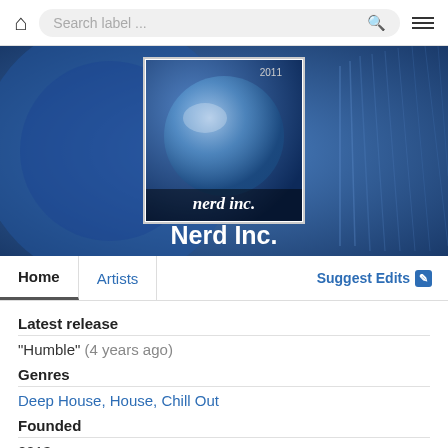Search label ...
[Figure (screenshot): Hero banner with blue abstract background showing a glass globe/crystal ball. Album art for Nerd Inc. label centered, showing a crystal ball on blue background with text 'nerd inc.' and year 2011. Label name 'Nerd Inc.' in white bold text below album art.]
Home | Artists | Suggest Edits
Latest release
"Humble" (4 years ago)
Genres
Deep House, House, Chill Out
Founded
2013
Location